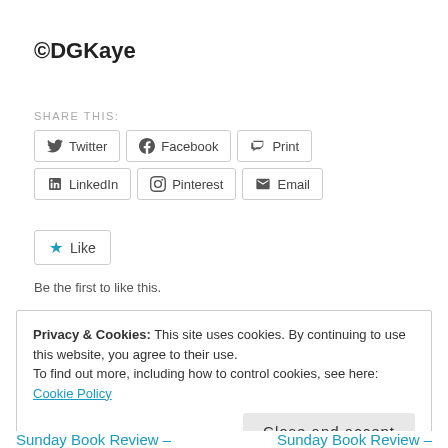©DGKaye
SHARE THIS:
Twitter  Facebook  Print  LinkedIn  Pinterest  Email
Like
Be the first to like this.
Privacy & Cookies: This site uses cookies. By continuing to use this website, you agree to their use. To find out more, including how to control cookies, see here: Cookie Policy
Close and accept
Sunday Book Review –  Sunday Book Review –